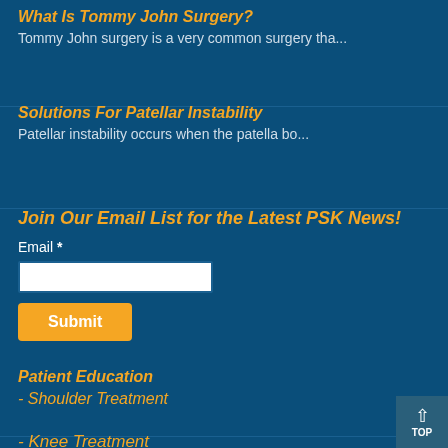What Is Tommy John Surgery?
Tommy John surgery is a very common surgery tha...
Solutions For Patellar Instability
Patellar instability occurs when the patella bo...
Join Our Email List for the Latest PSK News!
Email *
Submit
Patient Education
- Shoulder Treatment
- Knee Treatment